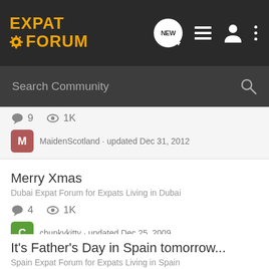Expat Forum
Search Community
9  1K
MaidenScotland · updated Dec 31, 2012
Merry Xmas
Dubai Expat Forum for Expats Living in Dubai
4  1K
chunkykitty · updated Dec 25, 2009
It's Father's Day in Spain tomorrow...
Spain Expat Forum for Expats Living in Spain
2  2K
Tallulab · updated Mar 18, 2009